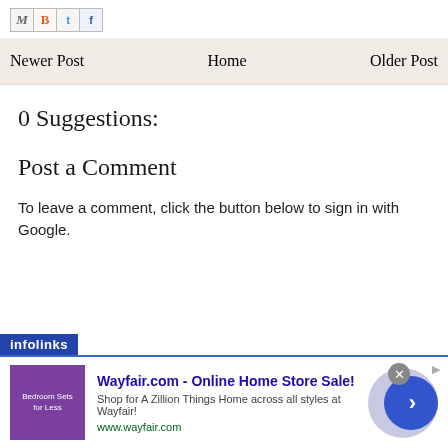[Figure (other): Social sharing icons: M (email), B (Blogger), t (Twitter), f (Facebook) in square bordered boxes]
Newer Post    Home    Older Post
0 Suggestions:
Post a Comment
To leave a comment, click the button below to sign in with Google.
[Figure (other): Wayfair.com advertisement banner with infolinks label. Ad title: Wayfair.com - Online Home Store Sale! Subtitle: Shop for A Zillion Things Home across all styles at Wayfair! URL: www.wayfair.com. Shows bedroom furniture image and navigation arrow button.]